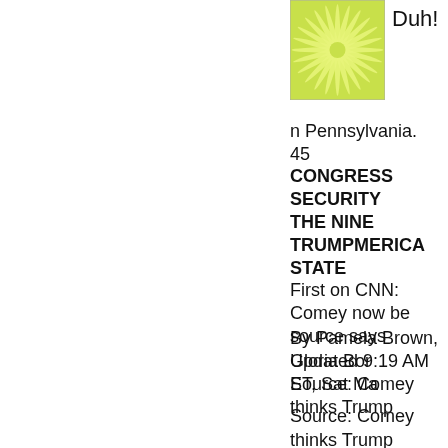[Figure (logo): Green starburst/flower logo on white background]
Duh!
n Pennsylvania.
45
CONGRESS
SECURITY
THE NINE
TRUMPMERICA
STATE
First on CNN: Comey now be source says
By Pamela Brown, Gloria Bor
Updated 9:19 AM ET, Sat Ma
Source: Comey thinks Trump
Source: Comey thinks Trump Washington (CNN)Former FE that President Donald Trump about the Russia probe, a pe whether that influence amour open question.
"You have to have intent in o sense," the source said, add